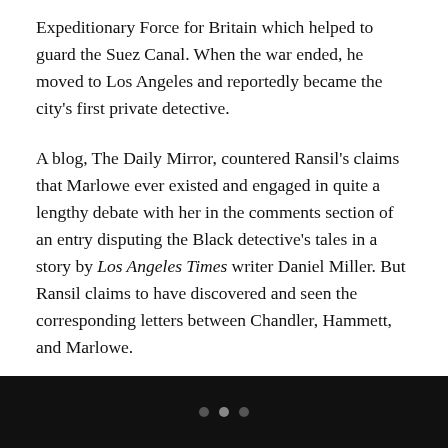Expeditionary Force for Britain which helped to guard the Suez Canal. When the war ended, he moved to Los Angeles and reportedly became the city's first private detective.
A blog, The Daily Mirror, countered Ransil's claims that Marlowe ever existed and engaged in quite a lengthy debate with her in the comments section of an entry disputing the Black detective's tales in a story by Los Angeles Times writer Daniel Miller. But Ransil claims to have discovered and seen the corresponding letters between Chandler, Hammett, and Marlowe.
The CW network announced last year that it was looking to develop a series around Marlowe, igniting renewed interest in the story.
Like BlackAmericaWeb.com on Facebook. Follow us